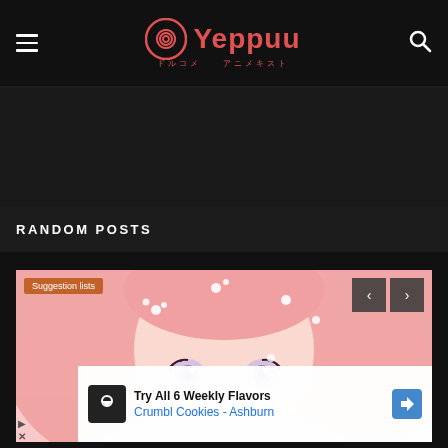Yeppuu — ドルコメ アニメキスト
RANDOM POSTS
[Figure (illustration): Anime girl with pink hair and floral accessories, close-up face illustration with soft pink tones and violet eyes]
Suggestion lists
Try All 6 Weekly Flavors Crumbl Cookies - Ashburn